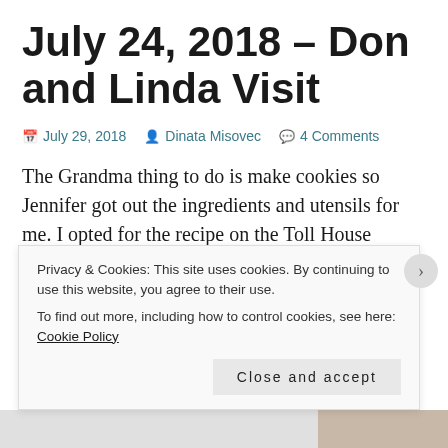July 24, 2018 – Don and Linda Visit
July 29, 2018   Dinata Misovec   4 Comments
The Grandma thing to do is make cookies so Jennifer got out the ingredients and utensils for me. I opted for the recipe on the Toll House chocolate chip bag – my favorite.  Owen was right in there ready to participate. Jennifer took a few pictures. I love this one of Cam licking his lips while I measured out the chocolate chips.
Privacy & Cookies: This site uses cookies. By continuing to use this website, you agree to their use.
To find out more, including how to control cookies, see here: Cookie Policy
Close and accept